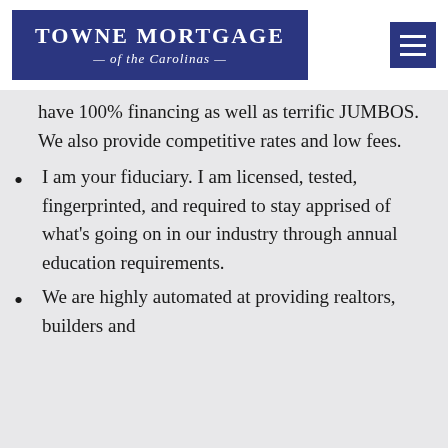Towne Mortgage — of the Carolinas —
have 100% financing as well as terrific JUMBOS. We also provide competitive rates and low fees.
I am your fiduciary. I am licensed, tested, fingerprinted, and required to stay apprised of what's going on in our industry through annual education requirements.
We are highly automated at providing realtors, builders and